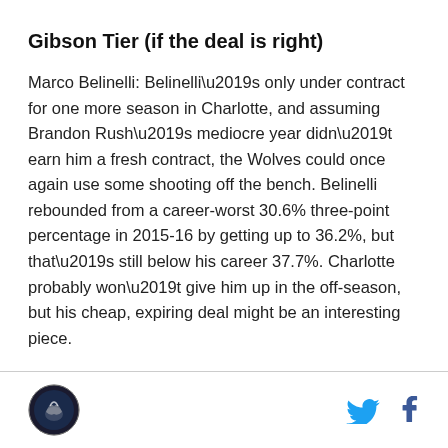Gibson Tier (if the deal is right)
Marco Belinelli: Belinelli’s only under contract for one more season in Charlotte, and assuming Brandon Rush’s mediocre year didn’t earn him a fresh contract, the Wolves could once again use some shooting off the bench. Belinelli rebounded from a career-worst 30.6% three-point percentage in 2015-16 by getting up to 36.2%, but that’s still below his career 37.7%. Charlotte probably won’t give him up in the off-season, but his cheap, expiring deal might be an interesting piece.
Logo and social icons